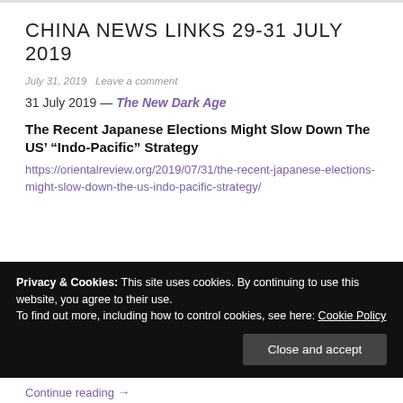CHINA NEWS LINKS 29-31 JULY 2019
July 31, 2019   Leave a comment
31 July 2019 — The New Dark Age
The Recent Japanese Elections Might Slow Down The US’ “Indo-Pacific” Strategy
https://orientalreview.org/2019/07/31/the-recent-japanese-elections-might-slow-down-the-us-indo-pacific-strategy/
Privacy & Cookies: This site uses cookies. By continuing to use this website, you agree to their use.
To find out more, including how to control cookies, see here: Cookie Policy
Close and accept
Continue reading →